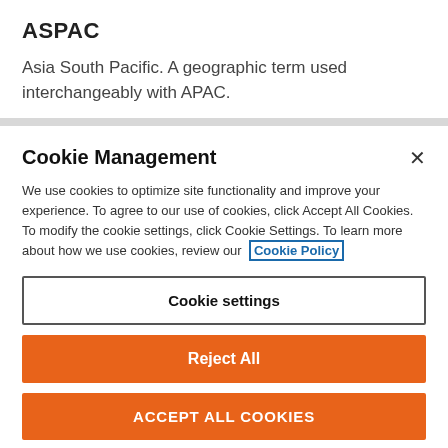ASPAC
Asia South Pacific. A geographic term used interchangeably with APAC.
Cookie Management
We use cookies to optimize site functionality and improve your experience. To agree to our use of cookies, click Accept All Cookies. To modify the cookie settings, click Cookie Settings. To learn more about how we use cookies, review our Cookie Policy
Cookie settings
Reject All
ACCEPT ALL COOKIES